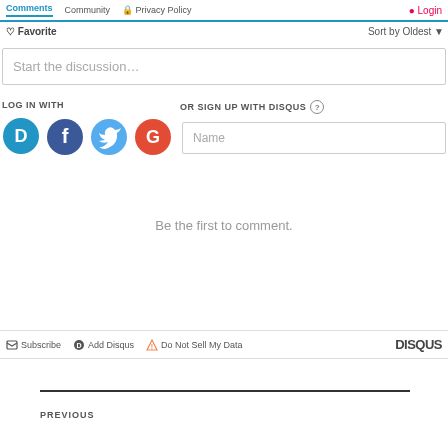Comments  Community  Privacy Policy  Login
Favorite  Sort by Oldest
Start the discussion…
LOG IN WITH
OR SIGN UP WITH DISQUS
[Figure (screenshot): Social login icons: Disqus (blue speech bubble with D), Facebook (dark blue circle with f), Twitter (light blue circle with bird), Google (red circle with G)]
Name
Be the first to comment.
Subscribe  Add Disqus  Do Not Sell My Data  DISQUS
PREVIOUS